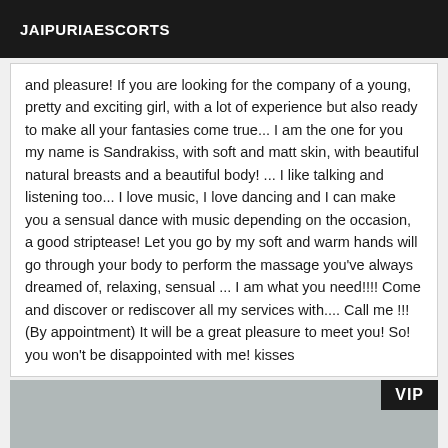JAIPURIAESCORTS
and pleasure! If you are looking for the company of a young, pretty and exciting girl, with a lot of experience but also ready to make all your fantasies come true... I am the one for you my name is Sandrakiss, with soft and matt skin, with beautiful natural breasts and a beautiful body! ... I like talking and listening too... I love music, I love dancing and I can make you a sensual dance with music depending on the occasion, a good striptease! Let you go by my soft and warm hands will go through your body to perform the massage you've always dreamed of, relaxing, sensual ... I am what you need!!!! Come and discover or rediscover all my services with.... Call me !!! (By appointment) It will be a great pleasure to meet you! So! you won't be disappointed with me! kisses
[Figure (photo): Grey placeholder image with VIP badge in top right corner]